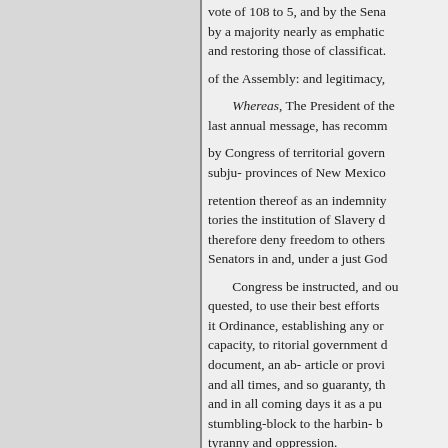vote of 108 to 5, and by the Senate by a majority nearly as emphatic and restoring those of classification of the Assembly: and legitimacy,
Whereas, The President of the last annual message, has recommended by Congress of territorial government subju- provinces of New Mexico retention thereof as an indemnity tories the institution of Slavery d therefore deny freedom to others Senators in and, under a just God
Congress be instructed, and our quested, to use their best efforts it Ordinance, establishing any or capacity, to ritorial government d document, an ab- article or provi and all times, and so guaranty, th and in all coming days it as a pu stumbling-block to the harbin- b tyranny and oppression.